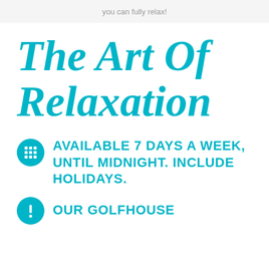you can fully relax!
The Art Of Relaxation
AVAILABLE 7 DAYS A WEEK, UNTIL MIDNIGHT. INCLUDE HOLIDAYS.
OUR GOLFHOUSE